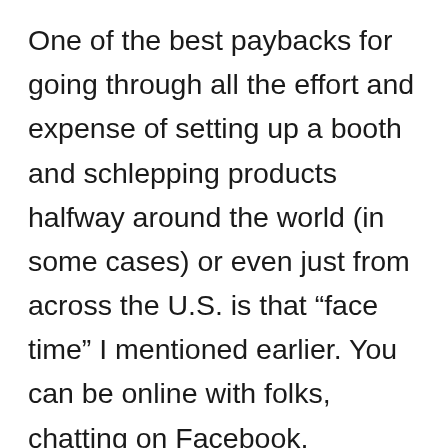One of the best paybacks for going through all the effort and expense of setting up a booth and schlepping products halfway around the world (in some cases) or even just from across the U.S. is that “face time” I mentioned earlier. You can be online with folks, chatting on Facebook, exchanging tweets on Twitter, repinning their images on Pinterest, etc., but nothing beats steeping some Rou Gui oolong together and sipping it while quietly letting the aromas and flavors lift you to another mental level. You can also bond while discussing packaging, shipping issues, and other aspects of the business